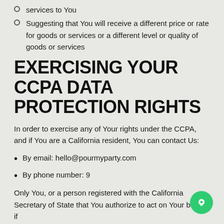services to You
Suggesting that You will receive a different price or rate for goods or services or a different level or quality of goods or services
EXERCISING YOUR CCPA DATA PROTECTION RIGHTS
In order to exercise any of Your rights under the CCPA, and if You are a California resident, You can contact Us:
By email: hello@pourmyparty.com
By phone number: 9
Only You, or a person registered with the California Secretary of State that You authorize to act on Your behalf, if